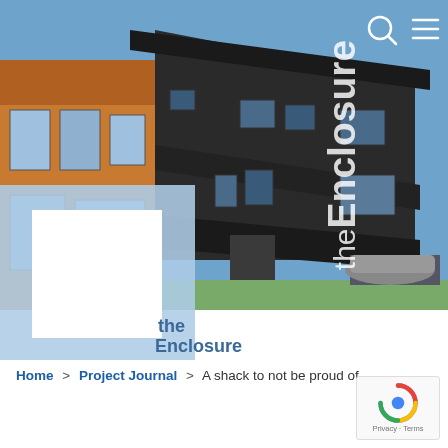[Figure (illustration): Website header screenshot showing 'theEnclosure' blog/website. Hero image shows a 3D rendered modern house building in blue/dark tones with sky background. Vertical text 'theEnclosure' overlaid on the left-center of the image. Search and hamburger menu icons top right. Large light-blue bracket/logo shape at bottom left with 'theEnclosure' text. Below is white space.]
Home > Project Journal > A shack to not be proud of.